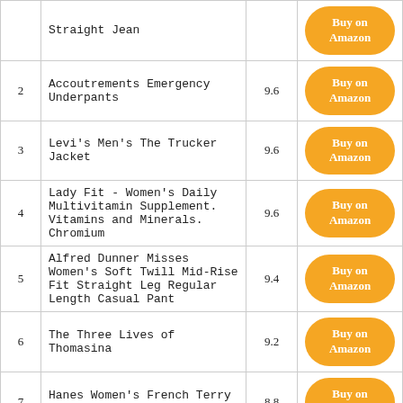| # | Name | Score | Link |
| --- | --- | --- | --- |
|  | Straight Jean |  | Buy on Amazon |
| 2 | Accoutrements Emergency Underpants | 9.6 | Buy on Amazon |
| 3 | Levi's Men's The Trucker Jacket | 9.6 | Buy on Amazon |
| 4 | Lady Fit - Women's Daily Multivitamin Supplement. Vitamins and Minerals. Chromium | 9.6 | Buy on Amazon |
| 5 | Alfred Dunner Misses Women's Soft Twill Mid-Rise Fit Straight Leg Regular Length Casual Pant | 9.4 | Buy on Amazon |
| 6 | The Three Lives of Thomasina | 9.2 | Buy on Amazon |
| 7 | Hanes Women's French Terry Pant | 8.8 | Buy on Amazon |
See Also:
» Best Basketball Vines
» Best Black Skinny Jeans Mens